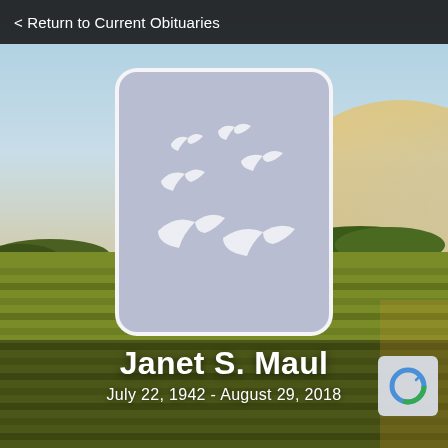< Return to Current Obituaries
[Figure (photo): Background photo of a pastoral landscape with golden green fields under a light blue sky with trees on the horizon. A placeholder portrait card with a light blue-grey background and white dove/bird silhouettes is centered in the upper portion.]
Janet S. Maul
July 22, 1942 - August 29, 2018